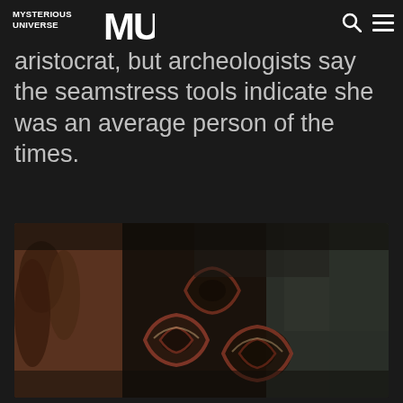MYSTERIOUS UNIVERSE MU
he woman was rich or an aristocrat, but archeologists say the seamstress tools indicate she was an average person of the times.
[Figure (photo): Close-up photograph of ancient textile or embroidered fabric showing floral/circular patterns in dark red and brown tones against a dark background, with weathered and aged appearance suggesting archaeological artifact.]